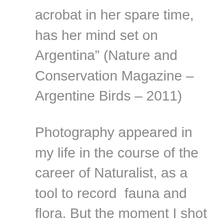acrobat in her spare time, has her mind set on Argentina” (Nature and Conservation Magazine – Argentine Birds – 2011)
Photography appeared in my life in the course of the career of Naturalist, as a tool to record  fauna and flora. But the moment I shot the shutter for the first time, I fell in love with it. Passionate and anxious for knowledge, I prepared myself as a self-taught person. Photography allows me not